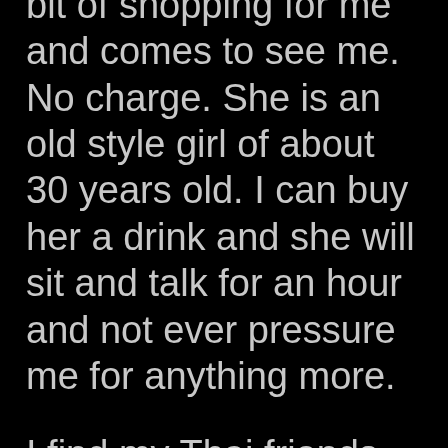bit of shopping for me and comes to see me. No charge. She is an old style girl of about 30 years old. I can buy her a drink and she will sit and talk for an hour and not ever pressure me for anything more.
I find my Thai friends happy to help at this time.
A physical therapist comes to visit, a very attractive speech therapist, (whom I end up dating for a short while). A nutritionist comes in and takes my meal requests. Nurses and nurse aids come at regular times, take my vitals and give me medicine. They are never late – always on time and very kind and professional. They don't seemed harried like those in the US hospitals. A representative from accounting and billing comes in as does a guy from patient